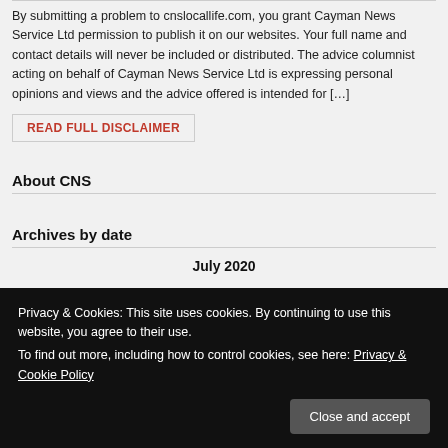By submitting a problem to cnslocallife.com, you grant Cayman News Service Ltd permission to publish it on our websites. Your full name and contact details will never be included or distributed. The advice columnist acting on behalf of Cayman News Service Ltd is expressing personal opinions and views and the advice offered is intended for […]
READ FULL DISCLAIMER
About CNS
Archives by date
July 2020
Privacy & Cookies: This site uses cookies. By continuing to use this website, you agree to their use.
To find out more, including how to control cookies, see here: Privacy & Cookie Policy